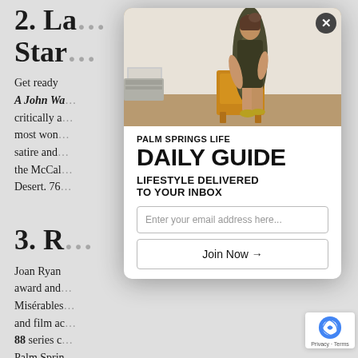2. La... Star...
Get ready ... humor at A John Wa... shares his critically a... call "the most wond... f adult satire and ... ne stage at the McCal... alm Desert. 76...
3. R...
Joan Ryan ... ale Artist award and... Misérables... and film ac... 88 series c... Palm Sprin...
[Figure (photo): Modal popup overlay on article page. Shows a woman in a gold/green gown seated on a chair against a white wall background. Below the photo: Palm Springs Life Daily Guide newsletter signup with email input and Join Now button.]